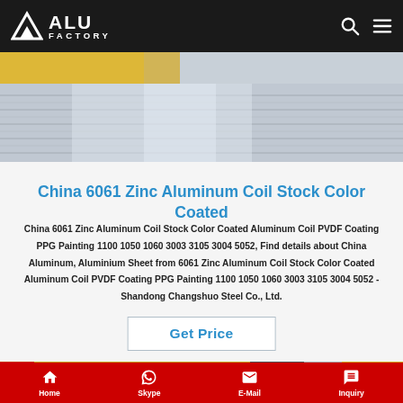ALU FACTORY
[Figure (photo): Silver/gray aluminum coil rolls stacked, with gold/yellow wrapping visible in background]
China 6061 Zinc Aluminum Coil Stock Color Coated
China 6061 Zinc Aluminum Coil Stock Color Coated Aluminum Coil PVDF Coating PPG Painting 1100 1050 1060 3003 3105 3004 5052, Find details about China Aluminum, Aluminium Sheet from 6061 Zinc Aluminum Coil Stock Color Coated Aluminum Coil PVDF Coating PPG Painting 1100 1050 1060 3003 3105 3004 5052 - Shandong Changshuo Steel Co., Ltd.
Get Price
[Figure (photo): Industrial facility interior showing colorful coil storage with yellow and red equipment]
Home  Skype  E-Mail  Inquiry